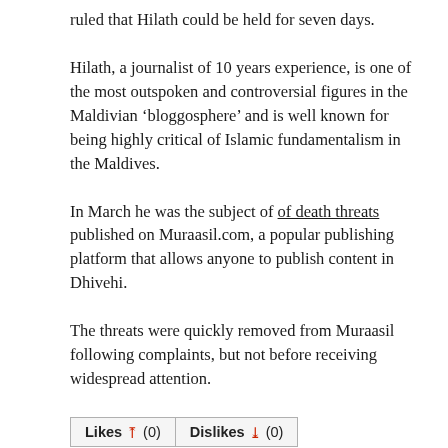ruled that Hilath could be held for seven days.
Hilath, a journalist of 10 years experience, is one of the most outspoken and controversial figures in the Maldivian ‘bloggosphere’ and is well known for being highly critical of Islamic fundamentalism in the Maldives.
In March he was the subject of death threats published on Muraasil.com, a popular publishing platform that allows anyone to publish content in Dhivehi.
The threats were quickly removed from Muraasil following complaints, but not before receiving widespread attention.
Likes (0)   Dislikes (0)